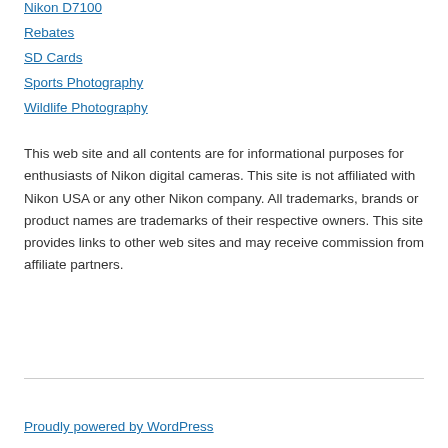Nikon D7100
Rebates
SD Cards
Sports Photography
Wildlife Photography
This web site and all contents are for informational purposes for enthusiasts of Nikon digital cameras. This site is not affiliated with Nikon USA or any other Nikon company. All trademarks, brands or product names are trademarks of their respective owners. This site provides links to other web sites and may receive commission from affiliate partners.
Proudly powered by WordPress